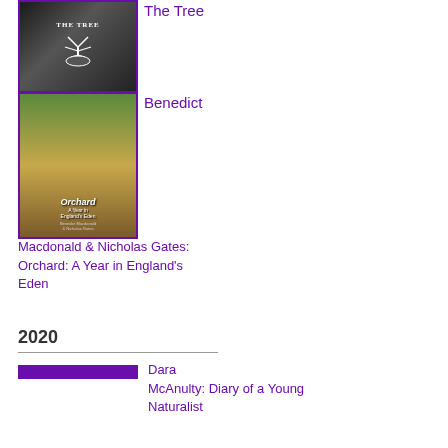[Figure (illustration): Book cover of 'The Tree' with black and white illustration of a bare tree]
The Tree
[Figure (illustration): Book cover of 'Orchard: A Year in England's Eden' with colorful illustration of birds and trees]
Benedict
Macdonald & Nicholas Gates: Orchard: A Year in England's Eden
2020
Dara McAnulty: Diary of a Young Naturalist